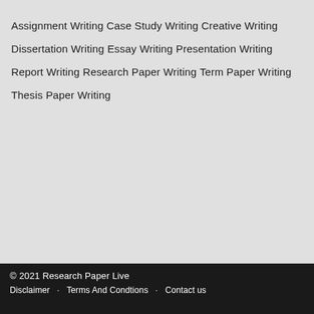Assignment Writing
Case Study Writing
Creative Writing
Dissertation Writing
Essay Writing
Presentation Writing
Report Writing
Research Paper Writing
Term Paper Writing
Thesis Paper Writing
© 2021 Research Paper Live
Disclaimer · Terms And Condtions · Contact us